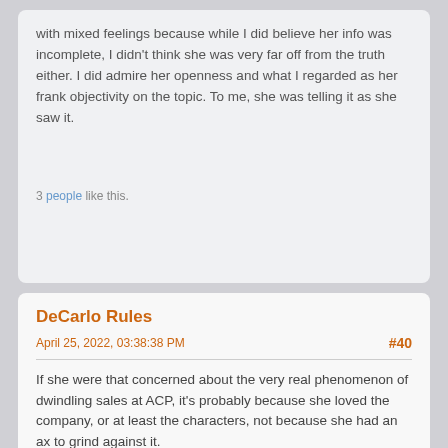with mixed feelings because while I did believe her info was incomplete, I didn't think she was very far off from the truth either. I did admire her openness and what I regarded as her frank objectivity on the topic. To me, she was telling it as she saw it.
3 people like this.
DeCarlo Rules
April 25, 2022, 03:38:38 PM
#40
If she were that concerned about the very real phenomenon of dwindling sales at ACP, it's probably because she loved the company, or at least the characters, not because she had an ax to grind against it.